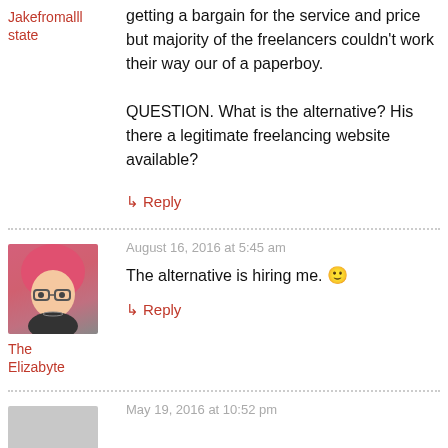getting a bargain for the service and price but majority of the freelancers couldn't work their way our of a paperboy.
QUESTION. What is the alternative? His there a legitimate freelancing website available?
↳ Reply
August 16, 2016 at 5:45 am
The alternative is hiring me. 🙂
The Elizabyte
↳ Reply
May 19, 2016 at 10:52 pm